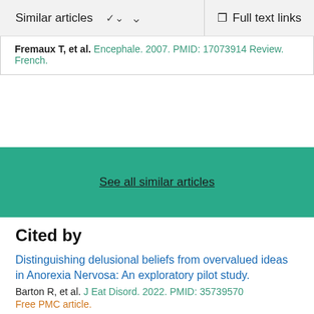Similar articles  ∨   Full text links
Fremaux T, et al. Encephale. 2007. PMID: 17073914 Review. French.
See all similar articles
Cited by
Distinguishing delusional beliefs from overvalued ideas in Anorexia Nervosa: An exploratory pilot study.
Barton R, et al. J Eat Disord. 2022. PMID: 35739570
Free PMC article.
Mycotherapy: Potential of Fungal Bioactives for the Treatment of Mental Health Disorders and